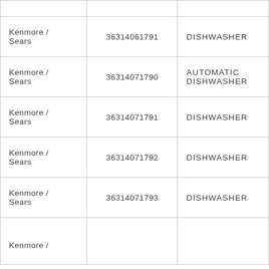| Kenmore / Sears | 36314061791 | DISHWASHER |
| Kenmore / Sears | 36314071790 | AUTOMATIC DISHWASHER |
| Kenmore / Sears | 36314071791 | DISHWASHER |
| Kenmore / Sears | 36314071792 | DISHWASHER |
| Kenmore / Sears | 36314071793 | DISHWASHER |
| Kenmore / Sears |  |  |